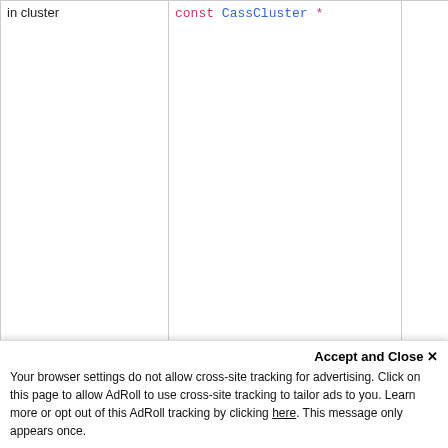| in cluster | const CassCluster * | T h e c l u s t e r c o n f i g |
| --- | --- | --- |
| in cluster | const CassCluster * | The cluster config... |
Accept and Close ✕
Your browser settings do not allow cross-site tracking for advertising. Click on this page to allow AdRoll to use cross-site tracking to tailor ads to you. Learn more or opt out of this AdRoll tracking by clicking here. This message only appears once.